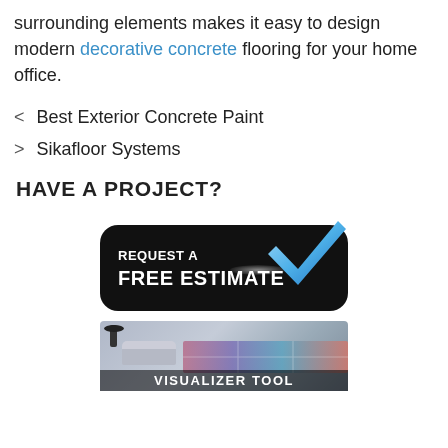surrounding elements makes it easy to design modern decorative concrete flooring for your home office.
< Best Exterior Concrete Paint
> Sikafloor Systems
HAVE A PROJECT?
[Figure (infographic): Black rounded rectangle button with white bold text reading 'REQUEST A FREE ESTIMATE' and a blue checkmark graphic overlapping the top-right corner, with a glowing white oval highlight beneath the checkmark.]
[Figure (screenshot): Preview image of a room interior with colorful decorative concrete flooring. White text at the bottom reads 'VISUALIZER TOOL'.]